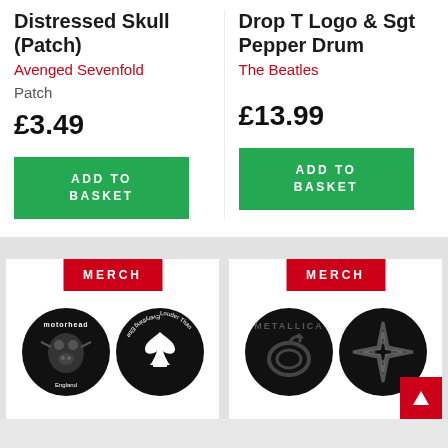Distressed Skull (Patch)
Avenged Sevenfold
Patch
£3.49
ADD TO BASKET
Drop T Logo & Sgt Pepper Drum
The Beatles
£13.99
ADD TO BASKET
MERCH
[Figure (photo): Two circular merchandise patches: Motorhead and Louder Than Everything Else]
MERCH
[Figure (photo): Two circular merchandise patches: Metallica black album snake and angular star logo]